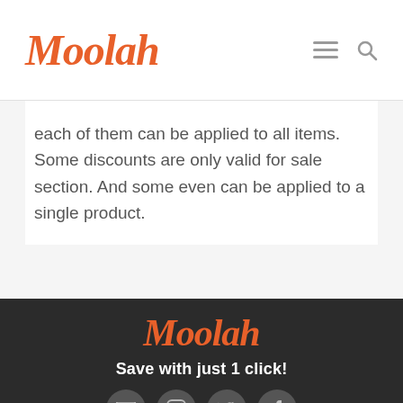Moolah
each of them can be applied to all items. Some discounts are only valid for sale section. And some even can be applied to a single product.
Moolah
Save with just 1 click!
About Us
Affiliate Program